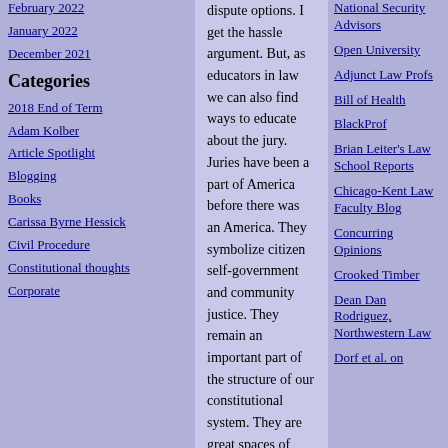February 2022
January 2022
December 2021
Categories
2018 End of Term
Adam Kolber
Article Spotlight
Blogging
Books
Carissa Byrne Hessick
Civil Procedure
Constitutional thoughts
Corporate
dispute options. I get the hassle argument. But, as educators in law we can also find ways to educate about the jury. Juries have been a part of America before there was an America. They symbolize citizen self-government and community justice. They remain an important part of the structure of our constitutional system. They are great spaces of civic education and inspiration. And, right now, they need our love.
Posted by Andrew Guthrie Ferguson on April 28, 2016 at 02:12 PM | Permalink
COMMENTS
The jury trial is dying, but its death comes at the hands of lawyers, not jurors. All the eager jurors in the world can't replace the certainty or cost savings of a plea bargain or a settlement agreement.
Posted by: Anon2 | Apr 28, 2016 3:07:00 PM
Or, we coud repeal the jury clauses of the fifth, sixth, and seventh amendments, and solve
National Security Advisors
Open University
Adjunct Law Profs
Bill of Health
BlackProf
Brian Leiter's Law School Reports
Chicago-Kent Law Faculty Blog
Concurring Opinions
Crooked Timber
Dean Dan Rodriguez, Northwestern Law
Dorf et al. on